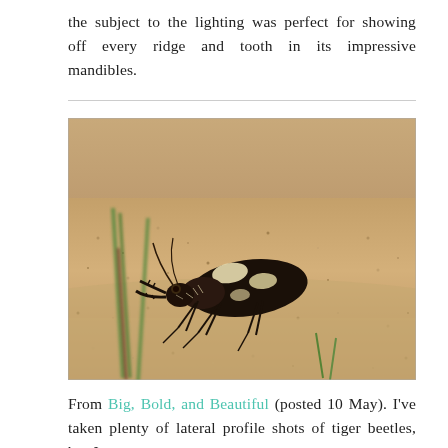the subject to the lighting was perfect for showing off every ridge and tooth in its impressive mandibles.
[Figure (photo): Close-up lateral photograph of a tiger beetle (black with cream/white markings) on sandy ground with grass blades visible in the background.]
From Big, Bold, and Beautiful (posted 10 May). I've taken plenty of lateral profile shots of tiger beetles, but I